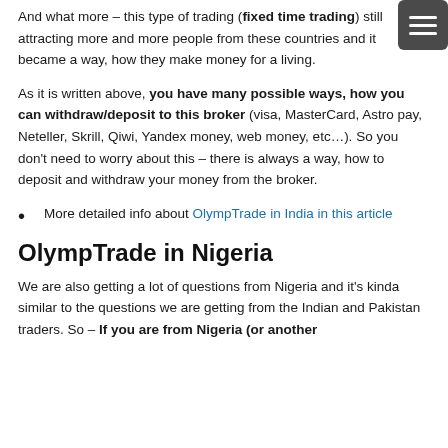And what more – this type of trading (fixed time trading) still attracting more and more people from these countries and it became a way, how they make money for a living.
As it is written above, you have many possible ways, how you can withdraw/deposit to this broker (visa, MasterCard, Astro pay, Neteller, Skrill, Qiwi, Yandex money, web money, etc…). So you don't need to worry about this – there is always a way, how to deposit and withdraw your money from the broker.
More detailed info about OlympTrade in India in this article
OlympTrade in Nigeria
We are also getting a lot of questions from Nigeria and it's kinda similar to the questions we are getting from the Indian and Pakistan traders. So – If you are from Nigeria (or another